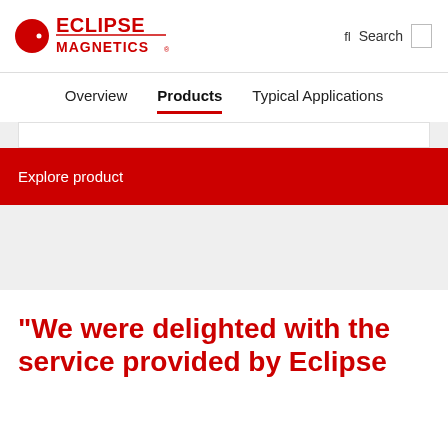[Figure (logo): Eclipse Magnetics logo with red circular icon and red text]
Search
Overview   Products   Typical Applications
Explore product
"We were delighted with the service provided by Eclipse